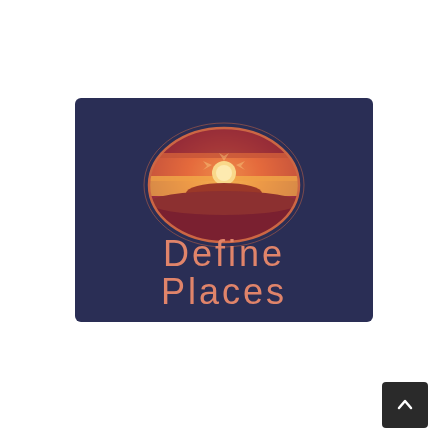[Figure (logo): Define Places logo: dark navy blue rectangular background with an oval/ellipse illustration showing a desert sunset scene — orange/red gradient sky, white sun circle, silhouetted mesa/butte landform, dark red foreground — with the text 'Define Places' in an orange retro sans-serif font below the oval.]
[Figure (other): Dark square scroll-to-top button with an upward-pointing chevron/caret arrow icon, positioned at bottom-right of the page.]